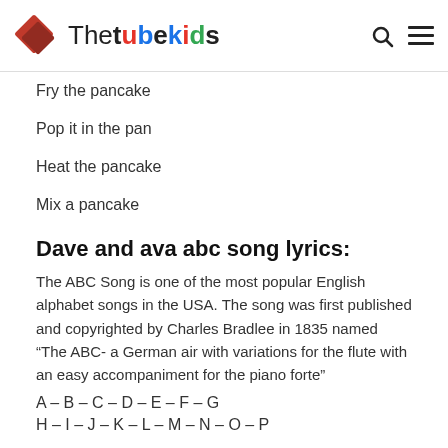Thetubekids
Fry the pancake
Pop it in the pan
Heat the pancake
Mix a pancake
Dave and ava abc song lyrics:
The ABC Song is one of the most popular English alphabet songs in the USA. The song was first published and copyrighted by Charles Bradlee in 1835 named “The ABC- a German air with variations for the flute with an easy accompaniment for the piano forte”
A – B – C – D – E – F – G
H – I – J – K – L – M – N – O – P